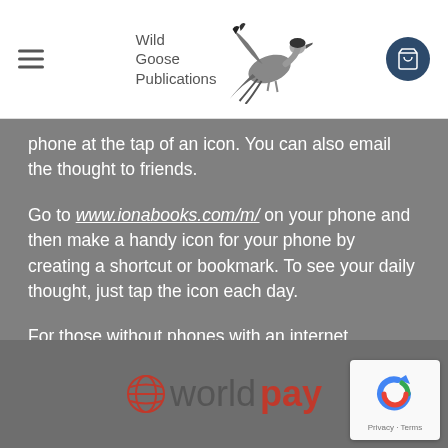Wild Goose Publications
phone at the tap of an icon. You can also email the thought to friends.
Go to www.ionabooks.com/m/ on your phone and then make a handy icon for your phone by creating a shortcut or bookmark. To see your daily thought, just tap the icon each day.
For those without phones with an internet capability, you can view the daily thoughts on your computer by going to www.ionabooks.com/m/
[Figure (logo): Worldpay logo with globe icon in red and 'worldpay' text]
[Figure (other): reCAPTCHA badge with Privacy - Terms text]